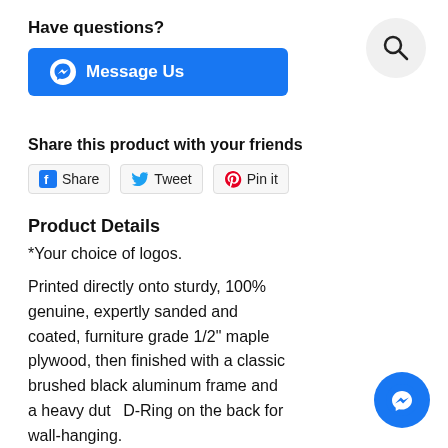[Figure (other): Search icon button (magnifying glass) in a circular grey background, top right corner]
Have questions?
[Figure (other): Blue 'Message Us' button with Facebook Messenger icon]
Share this product with your friends
[Figure (other): Social share buttons: Facebook Share, Twitter Tweet, Pinterest Pin it]
Product Details
*Your choice of logos.
Printed directly onto sturdy, 100% genuine, expertly sanded and coated, furniture grade 1/2" maple plywood, then finished with a classic brushed black aluminum frame and a heavy duty D-Ring on the back for wall-hanging.
Makes the perfect PCS award ETS award or
[Figure (other): Floating Facebook Messenger icon button, bottom right corner]